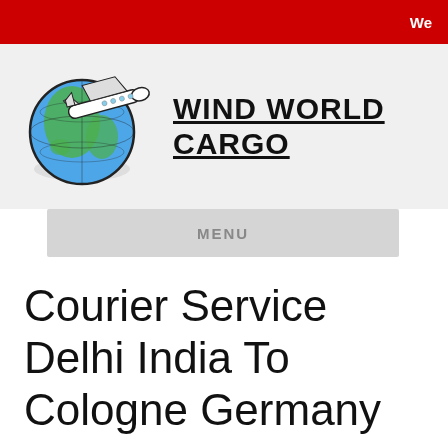We
[Figure (logo): Wind World Cargo logo with globe and airplane, brand name WIND WORLD CARGO in bold uppercase]
MENU
Courier Service Delhi India To Cologne Germany
Unbeatable courier services from Delhi to Cologne
We are the most trusted and widely recommended courier service provider from Delhi to Cologne for our wide versatility and door to